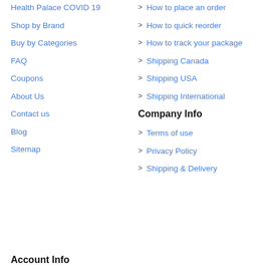Health Palace COVID 19
Shop by Brand
Buy by Categories
FAQ
Coupons
About Us
Contact us
Blog
Sitemap
> How to place an order
> How to quick reorder
> How to track your package
> Shipping Canada
> Shipping USA
> Shipping International
Company Info
> Terms of use
> Privacy Policy
> Shipping & Delivery
Account Info